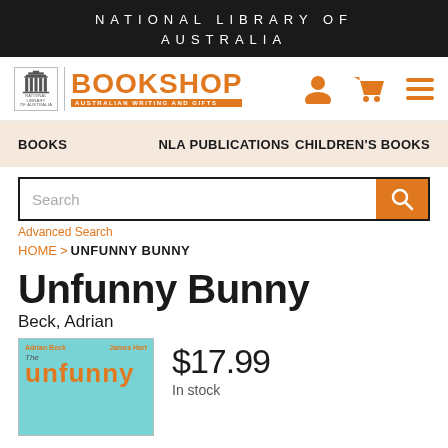NATIONAL LIBRARY OF AUSTRALIA
[Figure (logo): NLA Bookshop logo with orange BOOKSHOP text and National Library of Australia icon]
BOOKS   NLA PUBLICATIONS   CHILDREN'S BOOKS
Search
Advanced Search
HOME > UNFUNNY BUNNY
Unfunny Bunny
Beck, Adrian
[Figure (illustration): Book cover of 'The Unfunny Bunny' by Adrian Beck and James Hart, teal/turquoise background]
$17.99
In stock